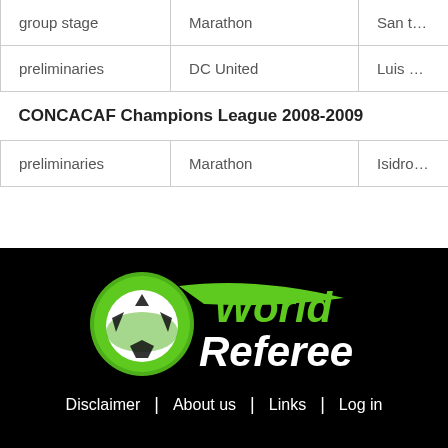| Stage | Team | Venue |
| --- | --- | --- |
| group stage | Marathon | San t… |
| preliminaries | DC United | Luis … |
| CONCACAF Champions League 2008-2009 |  |  |
| preliminaries | Marathon | Isidro… |
[Figure (logo): WorldReferee logo: green circle with soccer ball and green ribbon/whistle shape, with 'World' in green bold italic and 'Referee' in white bold italic text]
Disclaimer | About us | Links | Log in